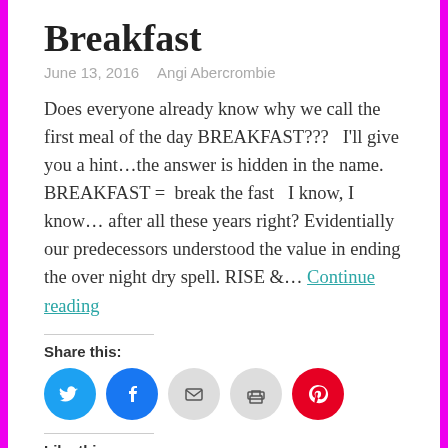Breakfast
June 13, 2016   Angi Abercrombie
Does everyone already know why we call the first meal of the day BREAKFAST???   I'll give you a hint…the answer is hidden in the name.  BREAKFAST =  break the fast   I know, I know…  after all these years right? Evidentially our predecessors understood the value in ending the over night dry spell. RISE &… Continue reading
Share this:
[Figure (infographic): Social share buttons: Twitter (blue), Facebook (blue), Email (gray), Print (gray), Pinterest (red)]
Like this:
[Figure (infographic): WordPress Like button and user avatars]